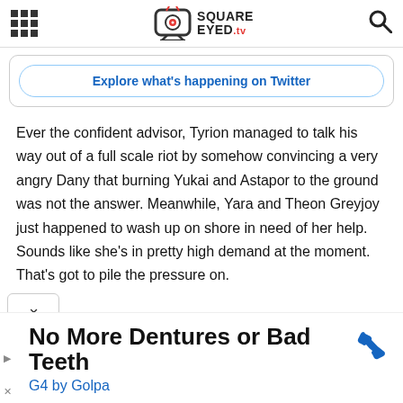SQUARE EYED.tv
Explore what's happening on Twitter
Ever the confident advisor, Tyrion managed to talk his way out of a full scale riot by somehow convincing a very angry Dany that burning Yukai and Astapor to the ground was not the answer. Meanwhile, Yara and Theon Greyjoy just happened to wash up on shore in need of her help. Sounds like she's in pretty high demand at the moment. That's got to pile the pressure on.
No More Dentures or Bad Teeth G4 by Golpa